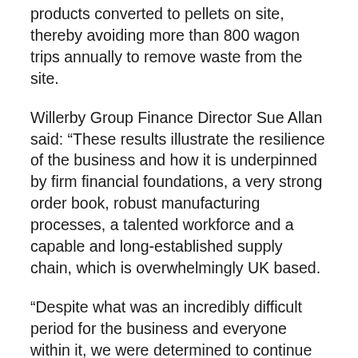products converted to pellets on site, thereby avoiding more than 800 wagon trips annually to remove waste from the site.
Willerby Group Finance Director Sue Allan said: “These results illustrate the resilience of the business and how it is underpinned by firm financial foundations, a very strong order book, robust manufacturing processes, a talented workforce and a capable and long-established supply chain, which is overwhelmingly UK based.
“Despite what was an incredibly difficult period for the business and everyone within it, we were determined to continue to invest in projects of strategic, long-term importance.
“These investments have been successfully delivered and will support the sustainable growth of the business